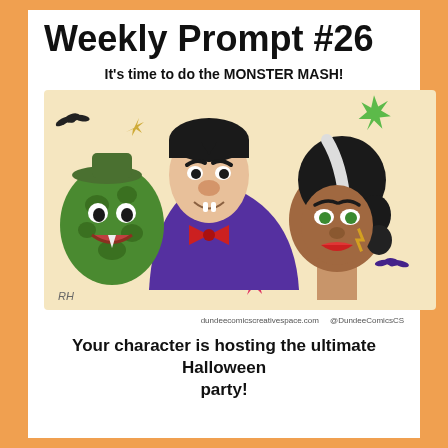Weekly Prompt #26
It's time to do the MONSTER MASH!
[Figure (illustration): Cartoon illustration of three monster faces: a green swamp creature on the left, Dracula in the center with purple cape and red bow tie, and Bride of Frankenstein on the right with dark wavy hair and white streak. Various bat and splash shapes in black, yellow, green, red, and purple surround them on a light yellow/cream background. Initials 'RH' in bottom left corner.]
dundeecomicscreativespace.com   @DundeeComicsCS
Your character is hosting the ultimate Halloween party!